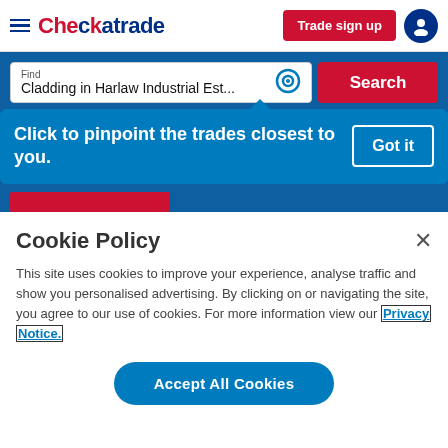Checkatrade — Trade sign up
Find Cladding in Harlaw Industrial Est...
Click to pinpoint the trades closest to you.
Cookie Policy
This site uses cookies to improve your experience, analyse traffic and show you personalised advertising. By clicking on or navigating the site, you agree to our use of cookies. For more information view our Privacy Notice.
Accept All Cookies